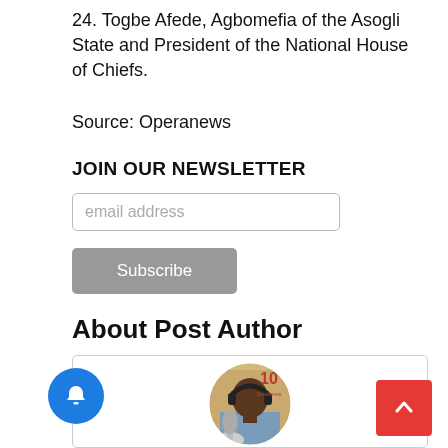24. Togbe Afede, Agbomefia of the Asogli State and President of the National House of Chiefs.
Source: Operanews
JOIN OUR NEWSLETTER
email address
Subscribe
About Post Author
[Figure (photo): Circular profile photo of a young man wearing headphones and sitting in front of a microphone, with a yellow background showing '10' and 'Excellence' text. Set inside a bordered card.]